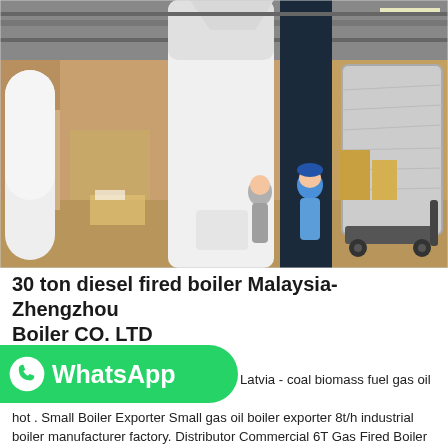[Figure (photo): Industrial warehouse/factory floor showing large vertical cylindrical boilers. Two workers in the background, one wearing a blue shirt and hard hat. White cylindrical boiler in the center, dark navy cylindrical column behind it, and a shrink-wrapped boiler unit on a wheeled cart to the right. Pallets and wooden crates visible in the background.]
30 ton diesel fired boiler Malaysia-Zhengzhou Boiler CO. LTD
[Figure (logo): WhatsApp logo button: green rounded rectangle with WhatsApp phone icon and text 'WhatsApp']
Latvia - coal biomass fuel gas oil fired hot . Small Boiler Exporter Small gas oil boiler exporter 8t/h industrial boiler manufacturer factory. Distributor Commercial 6T Gas Fired Boiler Malaysia 6t oil boiler Distributor Commercial...